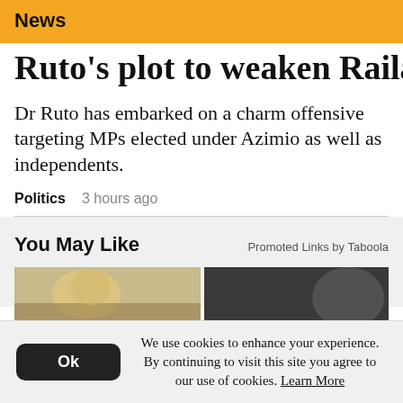News
Ruto's plot to weaken Raila
Dr Ruto has embarked on a charm offensive targeting MPs elected under Azimio as well as independents.
Politics   3 hours ago
You May Like
Promoted Links by Taboola
[Figure (photo): Two promotional images side by side]
We use cookies to enhance your experience. By continuing to visit this site you agree to our use of cookies. Learn More